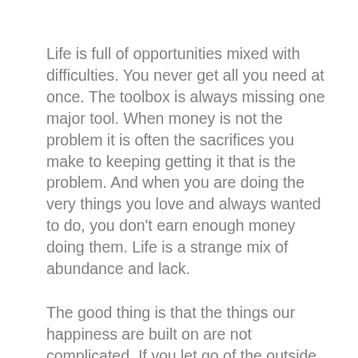Life is full of opportunities mixed with difficulties. You never get all you need at once. The toolbox is always missing one major tool. When money is not the problem it is often the sacrifices you make to keeping getting it that is the problem. And when you are doing the very things you love and always wanted to do, you don't earn enough money doing them. Life is a strange mix of abundance and lack.
The good thing is that the things our happiness are built on are not complicated. If you let go of the outside noises; if you let go of what people will say or think; if you let go of what the trend is pushing you to do; if you let go of the things that don't truly matter to you, you will find out that all you need to do to be happy aren't much. They are often just things you